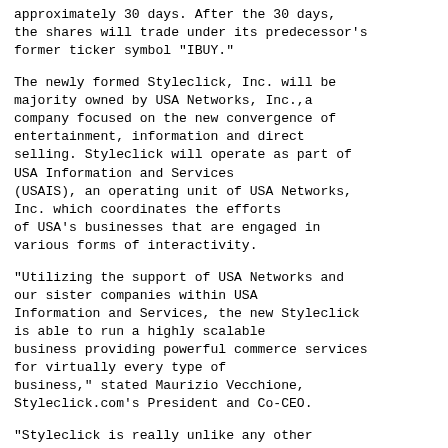approximately 30 days. After the 30 days, the shares will trade under its predecessor's former ticker symbol "IBUY."
The newly formed Styleclick, Inc. will be majority owned by USA Networks, Inc.,a company focused on the new convergence of entertainment, information and direct selling. Styleclick will operate as part of USA Information and Services (USAIS), an operating unit of USA Networks, Inc. which coordinates the efforts of USA's businesses that are engaged in various forms of interactivity.
"Utilizing the support of USA Networks and our sister companies within USA Information and Services, the new Styleclick is able to run a highly scalable business providing powerful commerce services for virtually every type of business," stated Maurizio Vecchione, Styleclick.com's President and Co-CEO.
"Styleclick is really unlike any other company we have encountered. Not only is